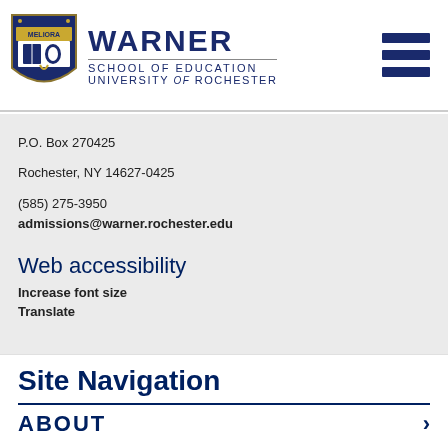[Figure (logo): Warner School of Education, University of Rochester shield logo and wordmark with hamburger menu icon]
P.O. Box 270425
Rochester, NY 14627-0425
(585) 275-3950
admissions@warner.rochester.edu
Web accessibility
Increase font size
Translate
Site Navigation
ABOUT